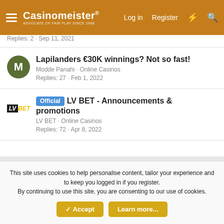Casinomeister® | Log in | Register
Replies: 2 · Sep 11, 2021
Lapilanders €30K winnings? Not so fast!
Modde Panahi · Online Casinos
Replies: 27 · Feb 1, 2022
Official LV BET - Announcements & promotions
LV BET · Online Casinos
Replies: 72 · Apr 8, 2022
Users who are viewing this thread
Total: 2 (members: 0, guests: 2)
This site uses cookies to help personalise content, tailor your experience and to keep you logged in if you register.
By continuing to use this site, you are consenting to our use of cookies.